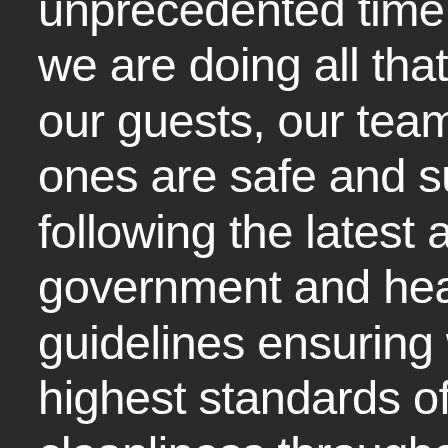unprecedented time, please be aware we are doing all that we can to keep our guests, our teams and their loved ones are safe and supported. We are following the latest available government and health authority guidelines ensuring we uphold the highest standards of hygiene and cleanliness throughout the resort without compromising on our renowned hospitality. We are accredited COVIDSAFE by ARAMA - the